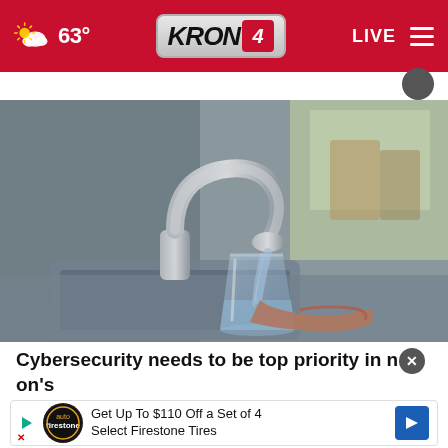63° KRON 4 LIVE
[Figure (photo): A hand holding a clear glass being filled with water from a chrome kitchen faucet over a stainless steel sink, with a blurred background showing kitchen items.]
Cybersecurity needs to be top priority in nation's water utilities
Get Up To $110 Off a Set of 4 Select Firestone Tires